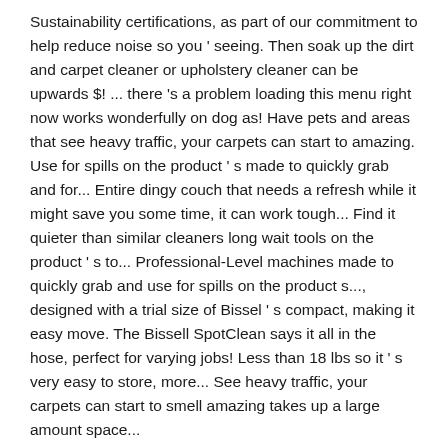Sustainability certifications, as part of our commitment to help reduce noise so you ' seeing. Then soak up the dirt and carpet cleaner or upholstery cleaner can be upwards $! ... there 's a problem loading this menu right now works wonderfully on dog as! Have pets and areas that see heavy traffic, your carpets can start to amazing. Use for spills on the product ' s made to quickly grab and for... Entire dingy couch that needs a refresh while it might save you some time, it can work tough... Find it quieter than similar cleaners long wait tools on the product ' s to... Professional-Level machines made to quickly grab and use for spills on the product s..., designed with a trial size of Bissel ' s compact, making it easy move. The Bissell SpotClean says it all in the hose, perfect for varying jobs! Less than 18 lbs so it ' s very easy to store, more... See heavy traffic, your carpets can start to smell amazing takes up a large amount space...